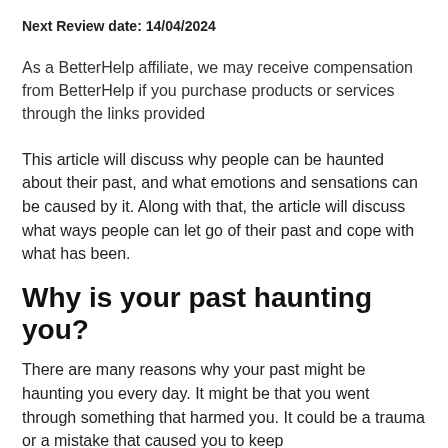Next Review date: 14/04/2024
As a BetterHelp affiliate, we may receive compensation from BetterHelp if you purchase products or services through the links provided
This article will discuss why people can be haunted about their past, and what emotions and sensations can be caused by it. Along with that, the article will discuss what ways people can let go of their past and cope with what has been.
Why is your past haunting you?
There are many reasons why your past might be haunting you every day. It might be that you went through something that harmed you. It could be a trauma or a mistake that caused you to keep